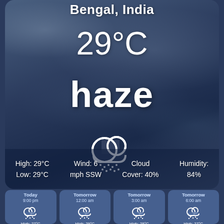Bengal, India
29°C
haze
[Figure (illustration): White outlined cloud with rain drops icon]
High: 29°C
Low: 29°C
Wind: 6 mph SSW
Cloud Cover: 40%
Humidity: 84%
[Figure (infographic): Forecast cards: Today 9:00 pm, Tomorrow 12:00 am, Tomorrow 3:00 am, Tomorrow 6:00 am — each with cloud+rain icon and temperature]